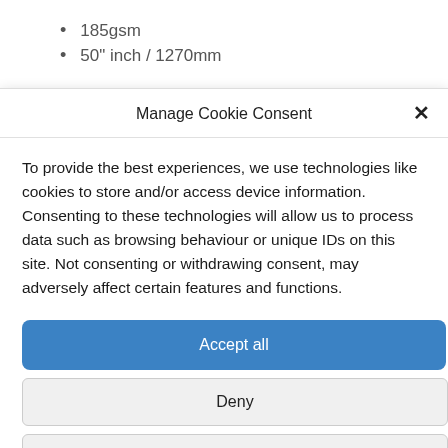185gsm
50" inch / 1270mm
Manage Cookie Consent
To provide the best experiences, we use technologies like cookies to store and/or access device information. Consenting to these technologies will allow us to process data such as browsing behaviour or unique IDs on this site. Not consenting or withdrawing consent, may adversely affect certain features and functions.
Accept all
Deny
View preferences